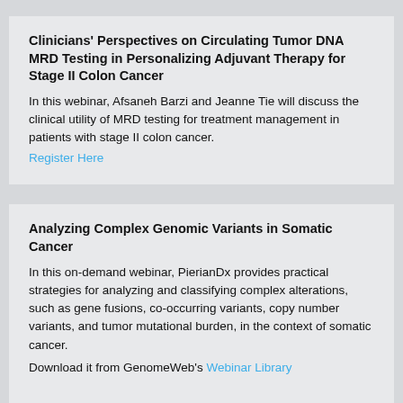Clinicians' Perspectives on Circulating Tumor DNA MRD Testing in Personalizing Adjuvant Therapy for Stage II Colon Cancer
In this webinar, Afsaneh Barzi and Jeanne Tie will discuss the clinical utility of MRD testing for treatment management in patients with stage II colon cancer.
Register Here
Analyzing Complex Genomic Variants in Somatic Cancer
In this on-demand webinar, PierianDx provides practical strategies for analyzing and classifying complex alterations, such as gene fusions, co-occurring variants, copy number variants, and tumor mutational burden, in the context of somatic cancer.
Download it from GenomeWeb's Webinar Library